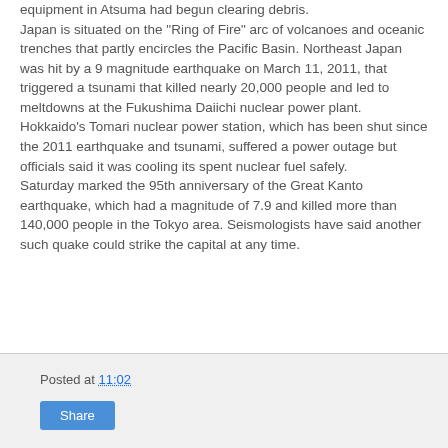equipment in Atsuma had begun clearing debris. Japan is situated on the "Ring of Fire" arc of volcanoes and oceanic trenches that partly encircles the Pacific Basin. Northeast Japan was hit by a 9 magnitude earthquake on March 11, 2011, that triggered a tsunami that killed nearly 20,000 people and led to meltdowns at the Fukushima Daiichi nuclear power plant. Hokkaido's Tomari nuclear power station, which has been shut since the 2011 earthquake and tsunami, suffered a power outage but officials said it was cooling its spent nuclear fuel safely. Saturday marked the 95th anniversary of the Great Kanto earthquake, which had a magnitude of 7.9 and killed more than 140,000 people in the Tokyo area. Seismologists have said another such quake could strike the capital at any time.
Posted at 11:02